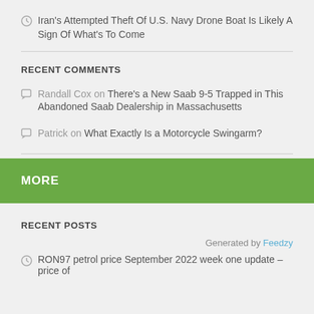Iran's Attempted Theft Of U.S. Navy Drone Boat Is Likely A Sign Of What's To Come
RECENT COMMENTS
Randall Cox on There's a New Saab 9-5 Trapped in This Abandoned Saab Dealership in Massachusetts
Patrick on What Exactly Is a Motorcycle Swingarm?
MORE
RECENT POSTS
Generated by Feedzy
RON97 petrol price September 2022 week one update – price of